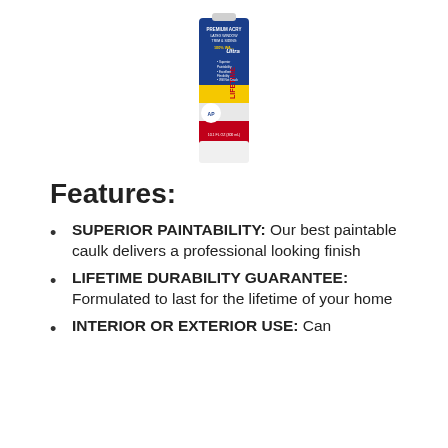[Figure (photo): A caulk tube product labeled 'LIFETIME Ultra' with blue, yellow, and red label design, shown upright on a white background.]
Features:
SUPERIOR PAINTABILITY: Our best paintable caulk delivers a professional looking finish
LIFETIME DURABILITY GUARANTEE: Formulated to last for the lifetime of your home
INTERIOR OR EXTERIOR USE: Can